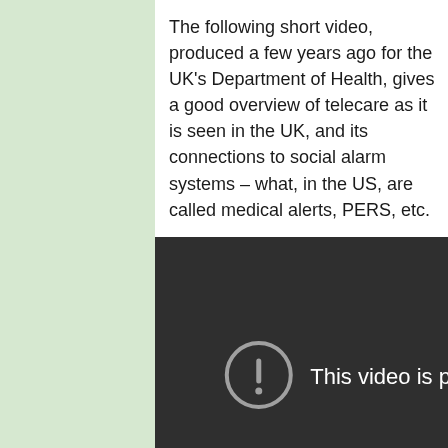The following short video, produced a few years ago for the UK's Department of Health, gives a good overview of telecare as it is seen in the UK, and its connections to social alarm systems – what, in the US, are called medical alerts, PERS, etc.
[Figure (screenshot): Embedded video player showing a private video error message. Dark background with a circle exclamation icon and partial text 'This video is priva' (cut off at right edge).]